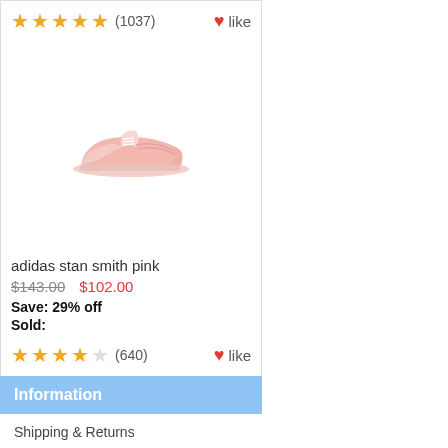★★★★★ (1037) ♥ like
[Figure (photo): Pink Adidas Stan Smith sneaker shoe, side view, light pink color]
adidas stan smith pink
$143.00  $102.00
Save: 29% off
Sold:
★★★★☆ (640)  ♥ like
Information
Shipping & Returns
Privacy Notice
F.A.Q
Contact Us